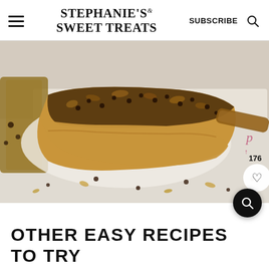STEPHANIE'S SWEET TREATS | SUBSCRIBE
[Figure (photo): Close-up photo of a slice of chocolate chip walnut bread or cake on parchment paper with scattered nuts and chocolate chips around it. A wooden-handled knife is visible.]
OTHER EASY RECIPES TO TRY